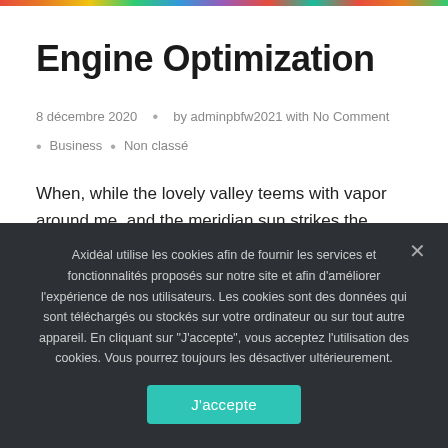Engine Optimization
8 décembre 2020  •  by adminpbfw2021 with No Comment  •  Business  •  Non classé
When, while the lovely valley teems with vapor around me, and the meridian sun strikes the upper surface of the impenetrable foliage of my trees, and
Axidéal utilise les cookies afin de fournir les services et fonctionnalités proposés sur notre site et afin d'améliorer l'expérience de nos utilisateurs. Les cookies sont des données qui sont téléchargés ou stockés sur votre ordinateur ou sur tout autre appareil. En cliquant sur "J'accepte", vous acceptez l'utilisation des cookies. Vous pourrez toujours les désactiver ultérieurement.
J'accepte